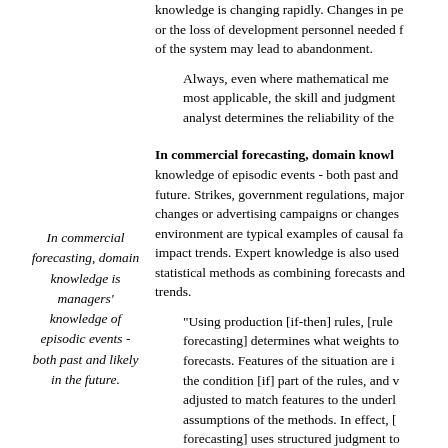knowledge is changing rapidly. Changes in pe or the loss of development personnel needed f of the system may lead to abandonment.
Always, even where mathematical me most applicable, the skill and judgment analyst determines the reliability of the
In commercial forecasting, domain knowl knowledge of episodic events - both past and future. Strikes, government regulations, major changes or advertising campaigns or changes environment are typical examples of causal fa impact trends. Expert knowledge is also used statistical methods as combining forecasts and trends.
In commercial forecasting, domain knowledge is managers' knowledge of episodic events - both past and likely in the future.
"Using production [if-then] rules, [rule forecasting] determines what weights to forecasts. Features of the situation are i the condition [if] part of the rules, and v adjusted to match features to the underl assumptions of the methods. In effect, [ forecasting] uses structured judgment to extrapolation methods to situations."